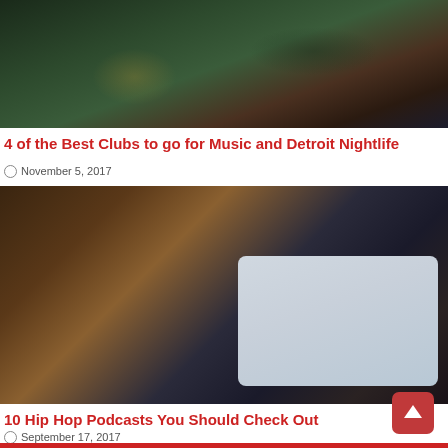[Figure (photo): Cityscape nightlife photo showing Detroit skyline with trees and urban scenery]
4 of the Best Clubs to go for Music and Detroit Nightlife
November 5, 2017
[Figure (photo): Close-up photo of an iPod screen showing Music, Videos, Photos menu items on a blurred DJ/club background]
10 Hip Hop Podcasts You Should Check Out
September 17, 2017